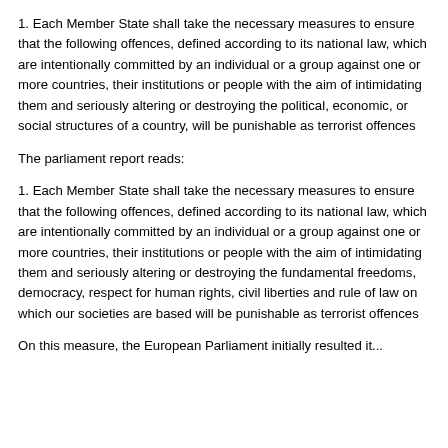1. Each Member State shall take the necessary measures to ensure that the following offences, defined according to its national law, which are intentionally committed by an individual or a group against one or more countries, their institutions or people with the aim of intimidating them and seriously altering or destroying the political, economic, or social structures of a country, will be punishable as terrorist offences
The parliament report reads:
1. Each Member State shall take the necessary measures to ensure that the following offences, defined according to its national law, which are intentionally committed by an individual or a group against one or more countries, their institutions or people with the aim of intimidating them and seriously altering or destroying the fundamental freedoms, democracy, respect for human rights, civil liberties and rule of law on which our societies are based will be punishable as terrorist offences
On this measure, the European Parliament initially resulted it...